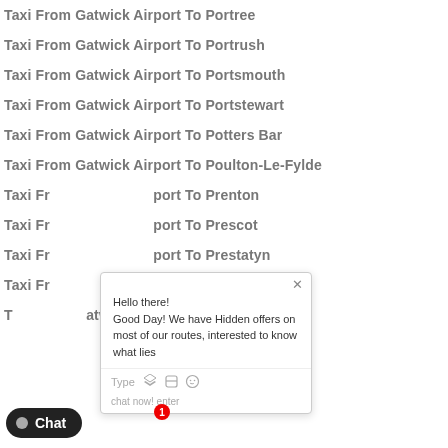Taxi From Gatwick Airport To Portree
Taxi From Gatwick Airport To Portrush
Taxi From Gatwick Airport To Portsmouth
Taxi From Gatwick Airport To Portstewart
Taxi From Gatwick Airport To Potters Bar
Taxi From Gatwick Airport To Poulton-Le-Fylde
Taxi From Gatwick Airport To Prenton
Taxi From Gatwick Airport To Prescot
Taxi From Gatwick Airport To Prestatyn
Taxi From Gatwick Airport To Presteigne
Taxi From Gatwick Airport To Preston
[Figure (screenshot): Chat popup widget showing greeting message: 'Hello there! Good Day! We have Hidden offers on most of our routes, interested to know what lies...' with Type, thumbs up, attachment, and emoji icons at bottom, and 'chat now! enter' text.]